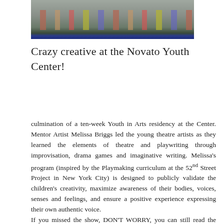[Figure (photo): Partial photo showing children's feet and lower legs, with a blue stripe along the bottom, at the Novato Youth Center]
Crazy creative at the Novato Youth Center!
culmination of a ten-week Youth in Arts residency at the Center.  Mentor Artist Melissa Briggs led the young theatre artists as they learned the elements of theatre and playwriting through improvisation, drama games and imaginative writing.   Melissa's program (inspired by the Playmaking curriculum at the 52nd Street Project in New York City) is designed to publicly validate the children's creativity, maximize awareness of their bodies, voices, senses and feelings, and ensure a positive experience expressing their own authentic voice.
If you missed the show, DON'T WORRY,  you can still read the plays:
Sucked In
Playwrights from grades one, two and three wrote Sparkles and Sugar. Sparkles is "a just born puppy" who has been adopted and lives in "the Presidents house"